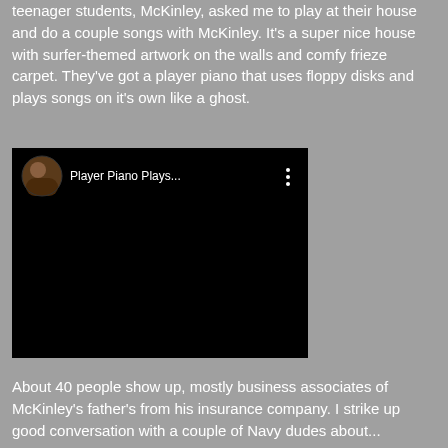teenager students, McKinley, asked me to play at their house and do a couple songs with McKinley. It's a super nice house with surfer-themed artwork on the walls and comfy frieze carpet. They've got a player piano that uses floppy disks and plays songs on it's own like a ghost.
[Figure (screenshot): Embedded YouTube-style video player with black background. Video header shows a circular avatar thumbnail, title 'Player Piano Plays...' and a three-dot menu icon.]
About 40 people show up, mostly business associates of McKinley's father's from his insurance company. I strike up good conversation with a couple of Navy dudes about...